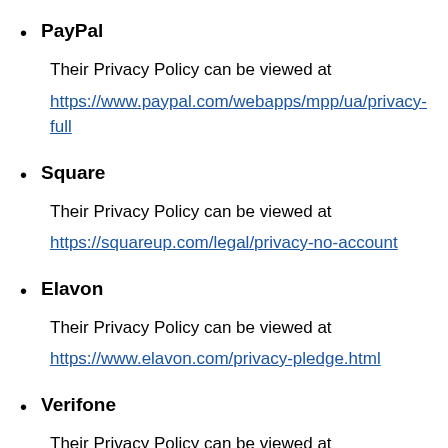PayPal
Their Privacy Policy can be viewed at https://www.paypal.com/webapps/mpp/ua/privacy-full
Square
Their Privacy Policy can be viewed at https://squareup.com/legal/privacy-no-account
Elavon
Their Privacy Policy can be viewed at https://www.elavon.com/privacy-pledge.html
Verifone
Their Privacy Policy can be viewed at